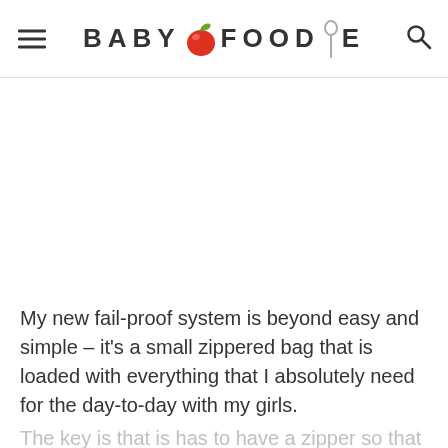BABY FOODIE
[Figure (other): White/blank image area placeholder]
My new fail-proof system is beyond easy and simple – it's a small zippered bag that is loaded with everything that I absolutely need for the day-to-day with my girls. The key is that is has to have a zipper so that you can only take as much stuff with you…I find that I will be…